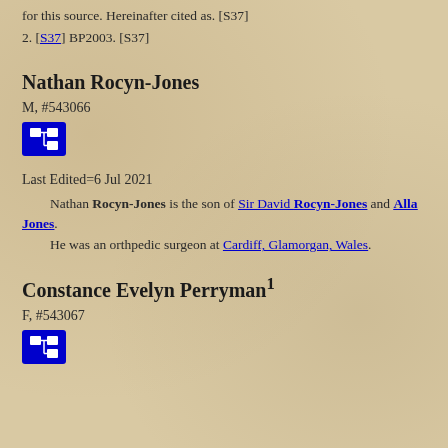for this source. Hereinafter cited as. [S37]
2. [S37] BP2003. [S37]
Nathan Rocyn-Jones
M, #543066
[Figure (other): Blue icon button with family tree / genealogy chart symbol]
Last Edited=6 Jul 2021
Nathan Rocyn-Jones is the son of Sir David Rocyn-Jones and Alla Jones. He was an orthpedic surgeon at Cardiff, Glamorgan, Wales.
Constance Evelyn Perryman
F, #543067
[Figure (other): Blue icon button with family tree / genealogy chart symbol]